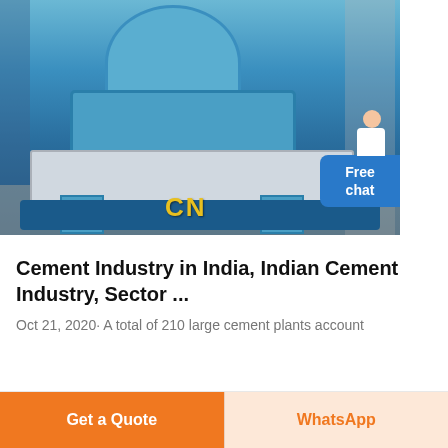[Figure (photo): Large blue industrial cement grinding/crusher machine in a factory setting, with a CN watermark logo in yellow text, and a 'Free chat' bubble with a person figure on the right side.]
Cement Industry in India, Indian Cement Industry, Sector ...
Oct 21, 2020· A total of 210 large cement plants account
Get a Quote
WhatsApp